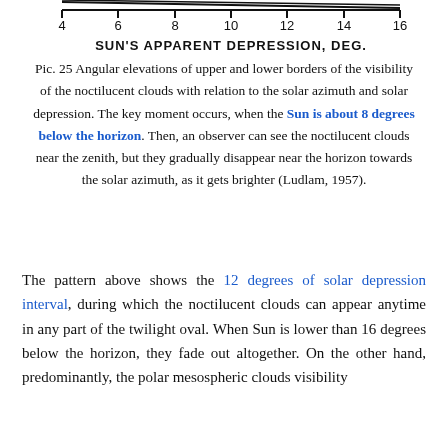[Figure (continuous-plot): Top portion of a chart showing axis with tick marks at 4, 6, 8, 10, 12, 14, 16 and x-axis label 'SUN'S APPARENT DEPRESSION, DEG.' with two diagonal lines (upper and lower borders of noctilucent cloud visibility) converging toward right side.]
Pic. 25 Angular elevations of upper and lower borders of the visibility of the noctilucent clouds with relation to the solar azimuth and solar depression. The key moment occurs, when the Sun is about 8 degrees below the horizon. Then, an observer can see the noctilucent clouds near the zenith, but they gradually disappear near the horizon towards the solar azimuth, as it gets brighter (Ludlam, 1957).
The pattern above shows the 12 degrees of solar depression interval, during which the noctilucent clouds can appear anytime in any part of the twilight oval. When Sun is lower than 16 degrees below the horizon, they fade out altogether. On the other hand, predominantly, the polar mesospheric clouds visibility